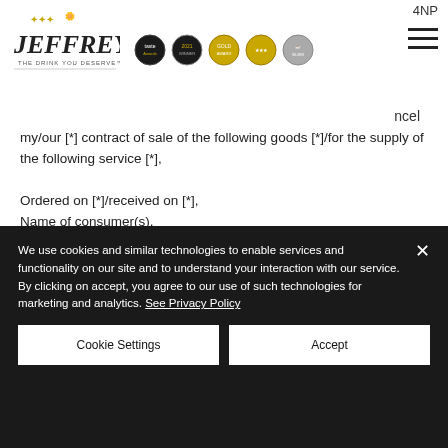Jeffrey's - The Drink You Deserve logo with award badges and navigation
4NP
ncel
my/our [*] contract of sale of the following goods [*]/for the supply of the following service [*],

Ordered on [*]/received on [*],
Name of consumer(s),
Address of consumer(s),
Signature of consumer(s) (only if this form is notified on paper),
Date
[*] Delete as appropriate
© Crown copyright 2013.
We use cookies and similar technologies to enable services and functionality on our site and to understand your interaction with our service. By clicking on accept, you agree to our use of such technologies for marketing and analytics. See Privacy Policy
Cookie Settings
Accept